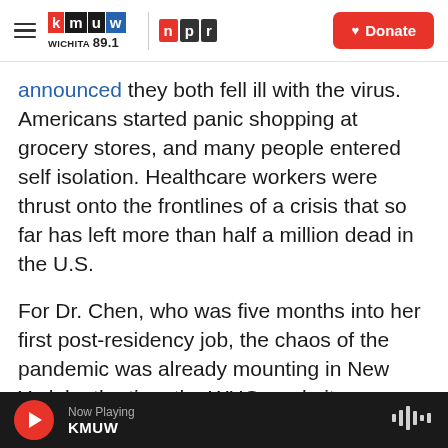KMUW WICHITA 89.1 | NPR | Donate
announced they both fell ill with the virus. Americans started panic shopping at grocery stores, and many people entered self isolation. Healthcare workers were thrust onto the frontlines of a crisis that so far has left more than half a million dead in the U.S.

For Dr. Chen, who was five months into her first post-residency job, the chaos of the pandemic was already mounting in New York by the time the WHO made its declaration. Chen had diagnosed the city's first confirmed COVID-19 case 10 days before March 11. By then, frontline health workers like
Now Playing KMUW